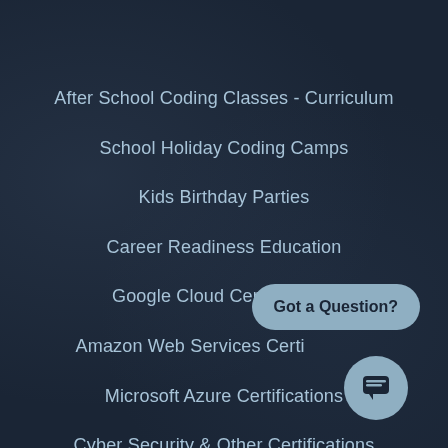After School Coding Classes - Curriculum
School Holiday Coding Camps
Kids Birthday Parties
Career Readiness Education
Google Cloud Certifications
Amazon Web Services Certifications
Microsoft Azure Certifications
Cyber Security & Other Certifications
Got a Question?